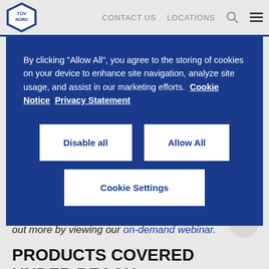CONTACT US  LOCATIONS
By clicking “Allow All”, you agree to the storing of cookies on your device to enhance site navigation, analyze site usage, and assist in our marketing efforts.  Cookie Notice  Privacy Statement
Disable all
Allow All
Cookie Settings
between UK REACH and EU REACH. You can find out more by viewing our on-demand webinar.
PRODUCTS COVERED UNDER REACH
REACH is comprehensive in its scope; it covers nearly all